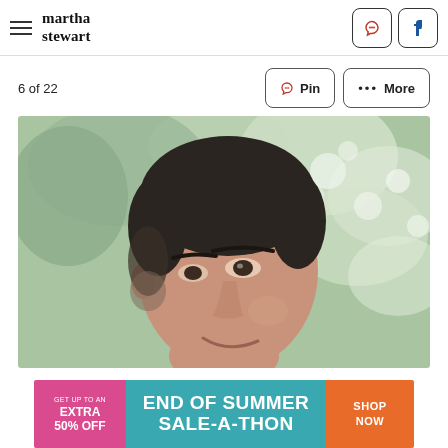martha stewart
6 of 22
[Figure (photo): Close-up portrait of a man with short dark hair, smiling, shot outdoors with blurred green and white foliage background]
[Figure (infographic): Advertisement banner: GET UP TO AN EXTRA 50% OFF | END OF SUMMER SALE-A-THON | SHOP NOW]